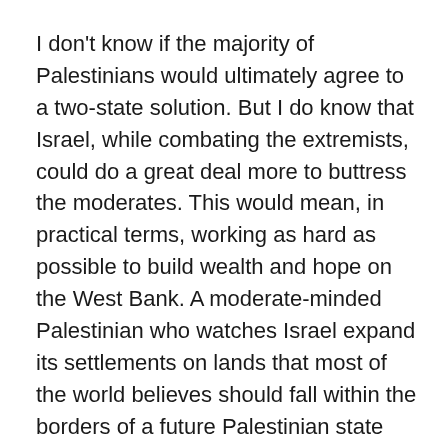I don't know if the majority of Palestinians would ultimately agree to a two-state solution. But I do know that Israel, while combating the extremists, could do a great deal more to buttress the moderates. This would mean, in practical terms, working as hard as possible to build wealth and hope on the West Bank. A moderate-minded Palestinian who watches Israel expand its settlements on lands that most of the world believes should fall within the borders of a future Palestinian state might legitimately come to doubt Israel's intentions. Reversing the settlement project, and moving the West Bank toward eventual independence, would not only give Palestinians hope, but it would convince Israel's sometimes-ambivalent friends that it truly seeks peace, and that it treats extremists differently than it treats moderates. And yes, I know that in